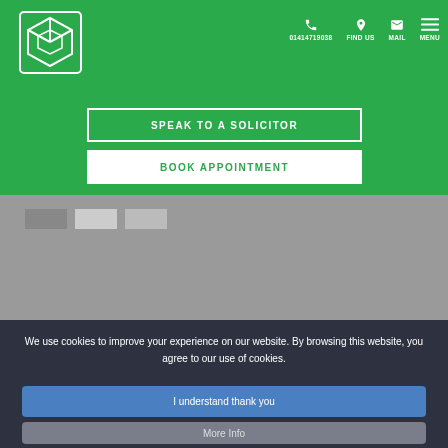[Figure (logo): White geometric cube/box logo on green background]
01414719038  FIND US  MAIL  MENU
SPEAK TO A SOLICITOR
BOOK APPOINTMENT
[Figure (photo): Gray placeholder image area with small boxes]
We use cookies to improve your experience on our website. By browsing this website, you agree to our use of cookies.
I understand thank you
More Info